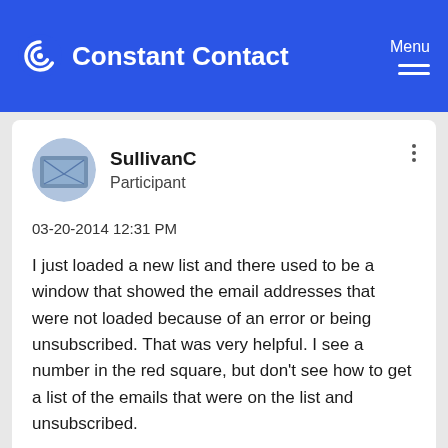Constant Contact — Menu
SullivanC
Participant
03-20-2014 12:31 PM
I just loaded a new list and there used to be a window that showed the email addresses that were not loaded because of an error or being unsubscribed. That was very helpful. I see a number in the red square, but don't see how to get a list of the emails that were on the list and unsubscribed.